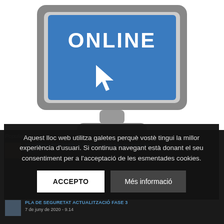[Figure (illustration): Computer monitor illustration showing a blue screen with the word ONLINE and a cursor arrow icon, with a gray stand/base below]
Aquest lloc web utilitza galetes perquè vostè tingui la millor experiència d'usuari. Si continua navegant està donant el seu consentiment per a l'acceptació de les esmentades cookies.
ACCEPTO
Més informació
Popular
TRAVESSA PER TARRAGÓ FORT UNIÓ SALOU ENLLAÇ ACT... · 14 d...
PLA DE SEGURETAT ACTUALITZACIÓ FASE 3 · 7 de juny de 2020 - 9.14